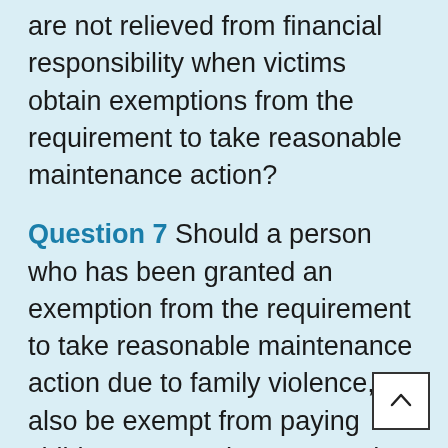are not relieved from financial responsibility when victims obtain exemptions from the requirement to take reasonable maintenance action?
Question 7 Should a person who has been granted an exemption from the requirement to take reasonable maintenance action due to family violence, also be exempt from paying child support to the person who has used family violence?
Question 8 Exemption policy in